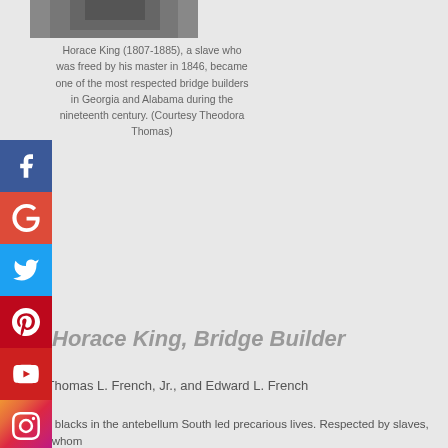[Figure (photo): Black and white photograph of Horace King, partially visible at top of page]
Horace King (1807-1885), a slave who was freed by his master in 1846, became one of the most respected bridge builders in Georgia and Alabama during the nineteenth century. (Courtesy Theodora Thomas)
Horace King, Bridge Builder
By Thomas L. French, Jr., and Edward L. French
Free blacks in the antebellum South led precarious lives. Respected by slaves, with whom